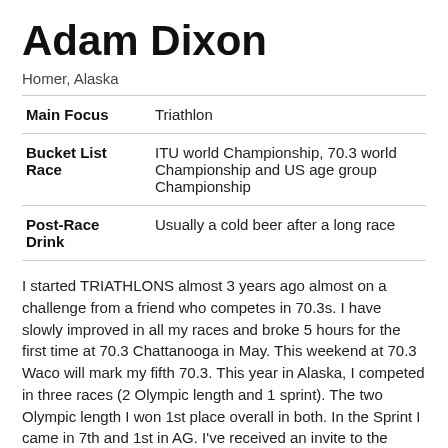Adam Dixon
Homer, Alaska
| Main Focus | Triathlon |
| Bucket List Race | ITU world Championship, 70.3 world Championship and US age group Championship |
| Post-Race Drink | Usually a cold beer after a long race |
I started TRIATHLONS almost 3 years ago almost on a challenge from a friend who competes in 70.3s. I have slowly improved in all my races and broke 5 hours for the first time at 70.3 Chattanooga in May. This weekend at 70.3 Waco will mark my fifth 70.3. This year in Alaska, I competed in three races (2 Olympic length and 1 sprint). The two Olympic length I won 1st place overall in both. In the Sprint I came in 7th and 1st in AG. I've received an invite to the national age group championships the last two years. We spend our winters in Mexico and I've finished 3rd in AG for the last two years at the Manzanillo ITU Sprint. I missed an invite to the ITU